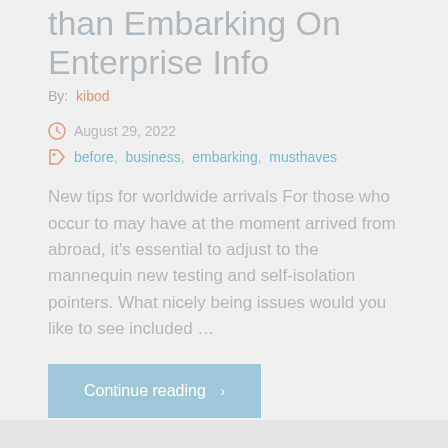than Embarking On Enterprise Info
By: kibod
August 29, 2022
before, business, embarking, musthaves
New tips for worldwide arrivals For those who occur to may have at the moment arrived from abroad, it's essential to adjust to the mannequin new testing and self-isolation pointers. What nicely being issues would you like to see included …
Continue reading >